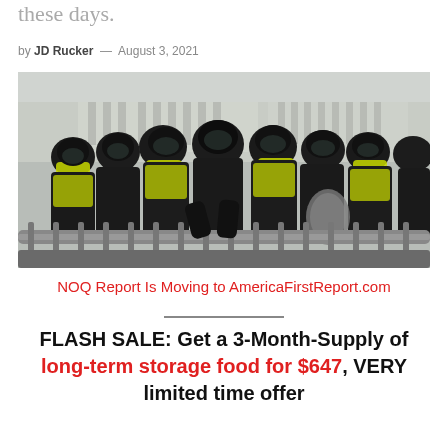these days.
by JD Rucker — August 3, 2021
[Figure (photo): Riot police in full gear with helmets, shields, and yellow high-visibility vests standing behind metal barricades in front of a large government building.]
NOQ Report Is Moving to AmericaFirstReport.com
FLASH SALE: Get a 3-Month-Supply of long-term storage food for $647, VERY limited time offer